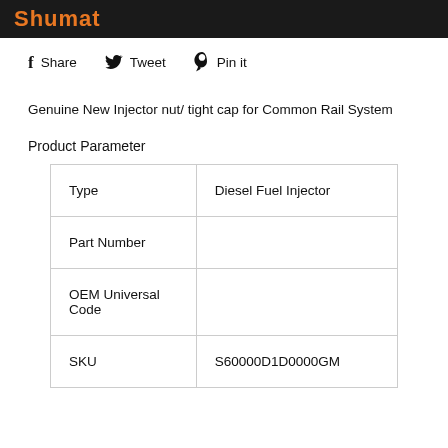Shumat
Share   Tweet   Pin it
Genuine New Injector nut/ tight cap for Common Rail System
Product Parameter
| Type | Diesel Fuel Injector |
| --- | --- |
| Type | Diesel Fuel Injector |
| Part Number |  |
| OEM Universal Code |  |
| SKU | S60000D1D0000GM |